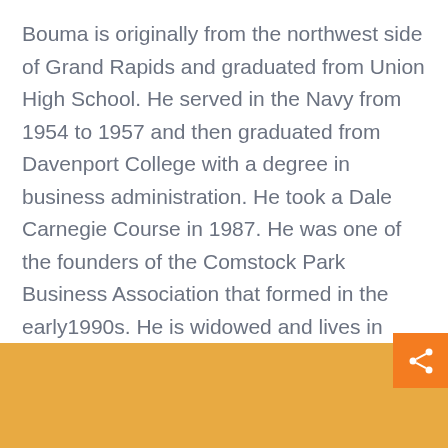Bouma is originally from the northwest side of Grand Rapids and graduated from Union High School. He served in the Navy from 1954 to 1957 and then graduated from Davenport College with a degree in business administration. He took a Dale Carnegie Course in 1987. He was one of the founders of the Comstock Park Business Association that formed in the early1990s. He is widowed and lives in Algoma Township. He has five children and eight grandchildren. When he's not working Bouma enjoys boating and cottage in Arcadia, MI. He jokes that he has a good place to store his boat.
[Figure (other): Orange/golden footer bar at the bottom of the page with a share button (share icon) in the bottom-right corner and a 'SHARE THIS' label above it.]